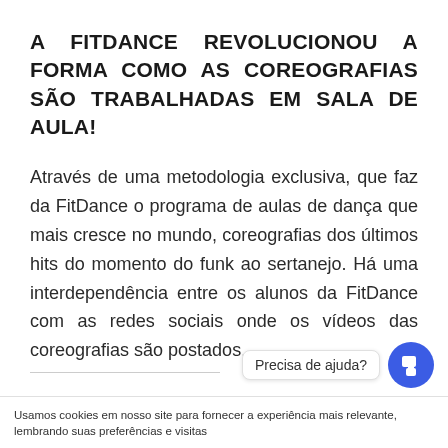A FITDANCE REVOLUCIONOU A FORMA COMO AS COREOGRAFIAS SÃO TRABALHADAS EM SALA DE AULA!
Através de uma metodologia exclusiva, que faz da FitDance o programa de aulas de dança que mais cresce no mundo, coreografias dos últimos hits do momento do funk ao sertanejo. Há uma interdependência entre os alunos da FitDance com as redes sociais onde os vídeos das coreografias são postados.
Precisa de ajuda?
Usamos cookies em nosso site para fornecer a experiência mais relevante, lembrando suas preferências e visitas